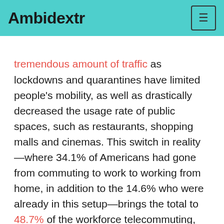Ambidextr
tremendous amount of traffic as lockdowns and quarantines have limited people's mobility, as well as drastically decreased the usage rate of public spaces, such as restaurants, shopping malls and cinemas. This switch in reality—where 34.1% of Americans had gone from commuting to work to working from home, in addition to the 14.6% who were already in this setup—brings the total to 48.7% of the workforce telecommuting, which is huge. The overall hindrance in mobility has led to a further increase of transactions being made online, as if